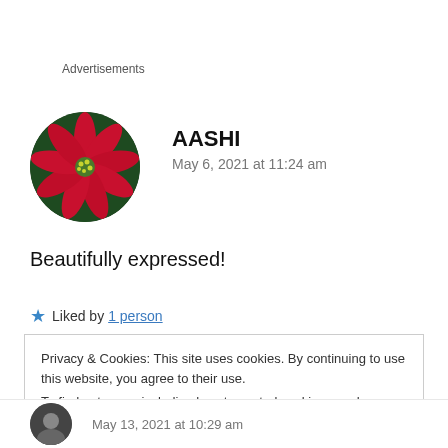Advertisements
[Figure (photo): Circular avatar photo showing a red poinsettia flower with green leaves against dark background]
AASHI
May 6, 2021 at 11:24 am
Beautifully expressed!
★ Liked by 1 person
Privacy & Cookies: This site uses cookies. By continuing to use this website, you agree to their use.
To find out more, including how to control cookies, see here: Cookie Policy
Close and accept
May 13, 2021 at 10:29 am